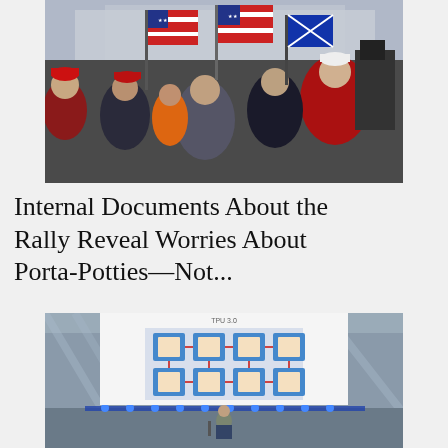[Figure (photo): Crowd of people waving American flags, some wearing red MAGA hats, at a political rally outdoors.]
Internal Documents About the Rally Reveal Worries About Porta-Potties—Not...
[Figure (photo): A speaker on a stage presenting in front of a large screen showing a TPU 3.0 chip diagram at what appears to be a Google event.]